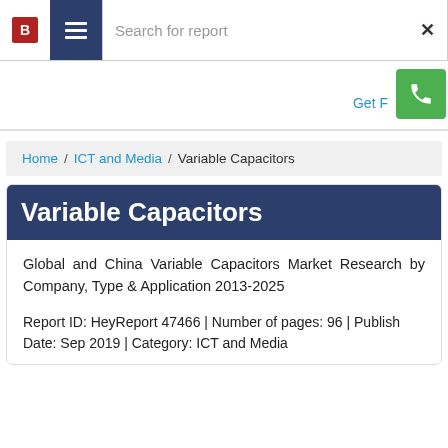Search for report
Home / ICT and Media / Variable Capacitors
Variable Capacitors
Global and China Variable Capacitors Market Research by Company, Type & Application 2013-2025
Report ID: HeyReport 47466 | Number of pages: 96 | Publish Date: Sep 2019 | Category: ICT and Media